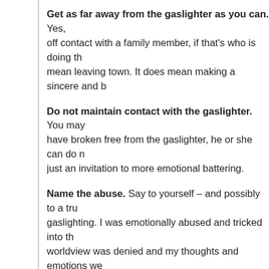Get as far away from the gaslighter as you can. Yes, off contact with a family member, if that's who is doing th mean leaving town. It does mean making a sincere and b
Do not maintain contact with the gaslighter. You may have broken free from the gaslighter, he or she can do n just an invitation to more emotional battering.
Name the abuse. Say to yourself – and possibly to a tru gaslighting. I was emotionally abused and tricked into th worldview was denied and my thoughts and emotions we
Feel the feelings. It may be some time before you can a experience the emotions that gaslighting brings. Your firs (at least I'm out of that!), but there may be years of ange rage lurking behind that. It may take work to surface thos them and recognize that they are valid.
Get some help. This can be a therapist who specializes